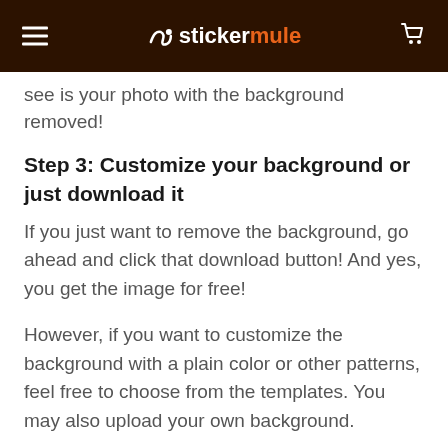stickermule
see is your photo with the background removed!
Step 3: Customize your background or just download it
If you just want to remove the background, go ahead and click that download button! And yes, you get the image for free!
However, if you want to customize the background with a plain color or other patterns, feel free to choose from the templates. You may also upload your own background.
What else can you do with Trace 2.0?